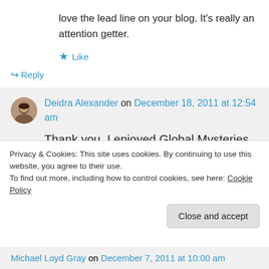love the lead line on your blog. It's really an attention getter.
★ Like
↪ Reply
Deidra Alexander on December 18, 2011 at 12:54 am
Thank you. I enjoyed Global Mysteries as well.
Privacy & Cookies: This site uses cookies. By continuing to use this website, you agree to their use.
To find out more, including how to control cookies, see here: Cookie Policy
Close and accept
Michael Loyd Gray on December 7, 2011 at 10:00 am